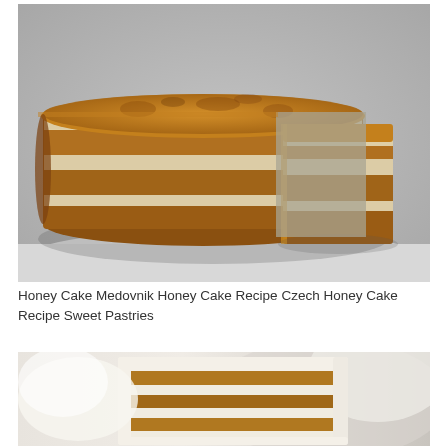[Figure (photo): A round multi-layered honey cake (Medovnik) with a slice cut out, showing cream-filled layers, placed on a white surface. The cake is covered with crumbled golden-brown crumbs.]
Honey Cake Medovnik Honey Cake Recipe Czech Honey Cake Recipe Sweet Pastries
[Figure (photo): A close-up of a slice of honey layer cake with white cream frosting, showing multiple thin golden-brown layers separated by cream filling, set against a soft white blurred background.]